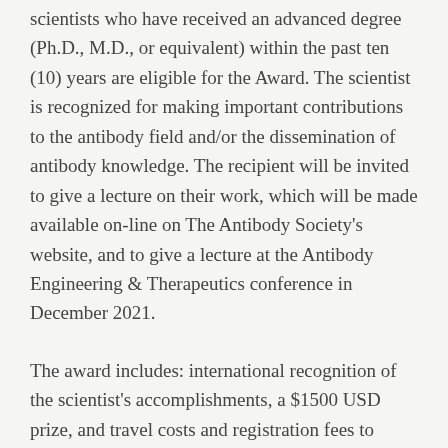scientists who have received an advanced degree (Ph.D., M.D., or equivalent) within the past ten (10) years are eligible for the Award. The scientist is recognized for making important contributions to the antibody field and/or the dissemination of antibody knowledge. The recipient will be invited to give a lecture on their work, which will be made available on-line on The Antibody Society's website, and to give a lecture at the Antibody Engineering & Therapeutics conference in December 2021.
The award includes: international recognition of the scientist's accomplishments, a $1500 USD prize, and travel costs and registration fees to attend the annual Antibody Engineering